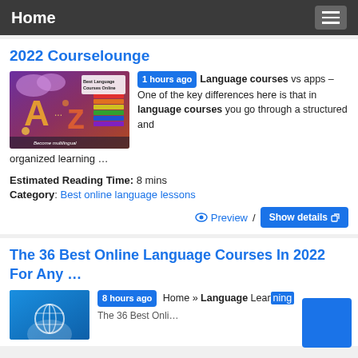Home
2022 Courselounge
[Figure (illustration): Colorful illustration showing letters A to Z with multilingual learning theme, text reading 'Best Language Courses Online' and 'Become multilingual']
1 hours ago Language courses vs apps – One of the key differences here is that in language courses you go through a structured and organized learning …
Estimated Reading Time: 8 mins
Category: Best online language lessons
Preview / Show details
The 36 Best Online Language Courses In 2022 For Any …
[Figure (illustration): Blue themed illustration for language courses article]
8 hours ago Home » Language Learning The 36 Best Onli…